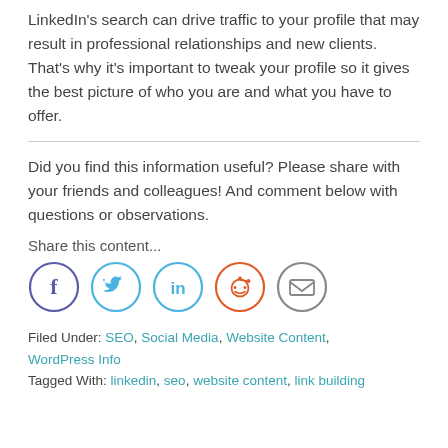LinkedIn's search can drive traffic to your profile that may result in professional relationships and new clients. That's why it's important to tweak your profile so it gives the best picture of who you are and what you have to offer.
Did you find this information useful? Please share with your friends and colleagues! And comment below with questions or observations.
Share this content...
[Figure (infographic): Social share icons: Facebook (blue circle with f), Twitter (blue circle with bird), LinkedIn (blue circle with in), Reddit (orange circle with alien), Email (gray circle with envelope)]
Filed Under: SEO, Social Media, Website Content, WordPress Info
Tagged With: linkedin, seo, website content, link building